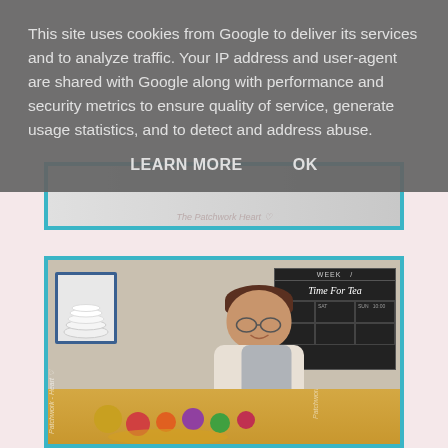[Figure (photo): Partial view of a blog post image with teal border, bottom portion showing a crafts/patchwork photo with watermark text]
[Figure (photo): Photo of a smiling woman with short brown hair and glasses, wearing a cream sweater and grey scarf, knitting/crocheting at a table. Behind her is a black chalkboard calendar with 'Time For Tea' written in chalk. On the left is a framed picture of stacked white bowls. Colorful yarn balls are on the table in front of her. Watermark text reads 'Patchwork Heart' vertically on the left.]
This site uses cookies from Google to deliver its services and to analyze traffic. Your IP address and user-agent are shared with Google along with performance and security metrics to ensure quality of service, generate usage statistics, and to detect and address abuse.
LEARN MORE    OK